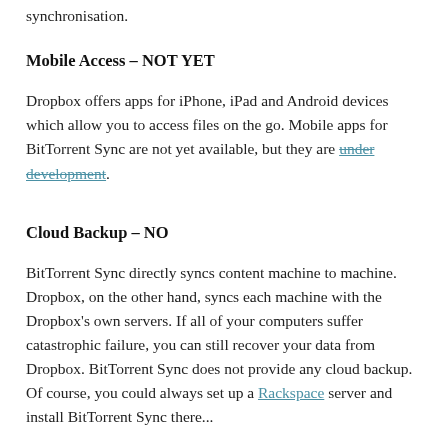synchronisation.
Mobile Access – NOT YET
Dropbox offers apps for iPhone, iPad and Android devices which allow you to access files on the go. Mobile apps for BitTorrent Sync are not yet available, but they are under development.
Cloud Backup – NO
BitTorrent Sync directly syncs content machine to machine. Dropbox, on the other hand, syncs each machine with the Dropbox's own servers. If all of your computers suffer catastrophic failure, you can still recover your data from Dropbox. BitTorrent Sync does not provide any cloud backup. Of course, you could always set up a Rackspace server and install BitTorrent Sync there...